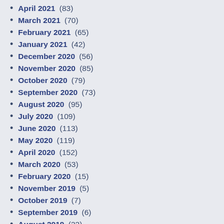April 2021 (83)
March 2021 (70)
February 2021 (65)
January 2021 (42)
December 2020 (56)
November 2020 (85)
October 2020 (79)
September 2020 (73)
August 2020 (95)
July 2020 (109)
June 2020 (113)
May 2020 (119)
April 2020 (152)
March 2020 (53)
February 2020 (15)
November 2019 (5)
October 2019 (7)
September 2019 (6)
August 2019 (22)
July 2019 (16)
May 2019 (19)
April 2019 (1)
March 2019 (8)